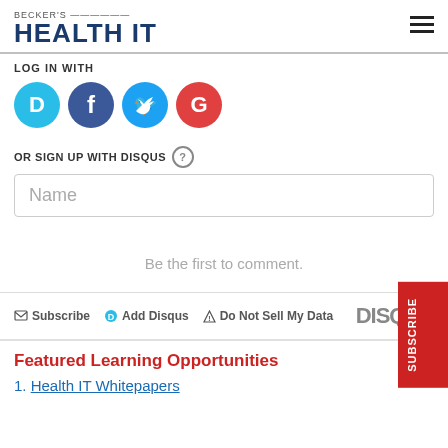BECKER'S HEALTH IT
LOG IN WITH
[Figure (logo): Social login icons: Disqus (cyan), Facebook (blue), Twitter (light blue), Google (red), all circular]
OR SIGN UP WITH DISQUS ?
Name
Be the first to comment.
Subscribe  Add Disqus  Do Not Sell My Data  DISQUS
Featured Learning Opportunities
1. Health IT Whitepapers